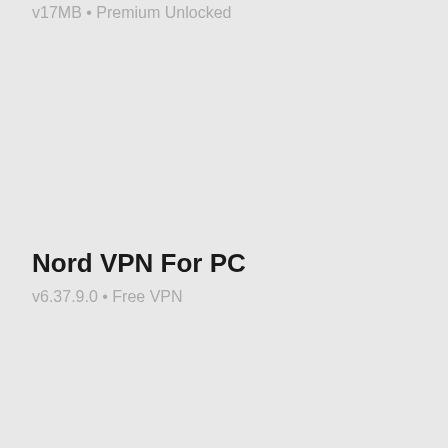v17MB • Premium Unlocked
Nord VPN For PC
v6.37.9.0 • Free VPN